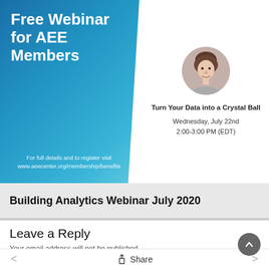[Figure (infographic): Free Webinar for AEE Members promotional banner. Left side: blue gradient panel with text 'Free Webinar for AEE Members' and 'For full details and to register visit www.aeecenter.org/membership/benefits'. Right side: circular headshot of a woman, bold text 'Turn Your Data into a Crystal Ball', date 'Wednesday, July 22nd', time '2:00-3:00 PM (EDT)'.]
Building Analytics Webinar July 2020
Leave a Reply
Your email address will not be published.
Your Comment